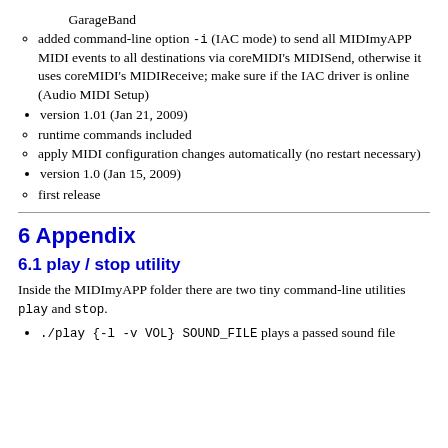GarageBand
added command-line option -i (IAC mode) to send all MIDImyAPP MIDI events to all destinations via coreMIDI's MIDISend, otherwise it uses coreMIDI's MIDIReceive; make sure if the IAC driver is online (Audio MIDI Setup)
version 1.01 (Jan 21, 2009)
runtime commands included
apply MIDI configuration changes automatically (no restart necessary)
version 1.0 (Jan 15, 2009)
first release
6 Appendix
6.1 play / stop utility
Inside the MIDImyAPP folder there are two tiny command-line utilities play and stop.
./play {-l -v VOL} SOUND_FILE plays a passed sound file